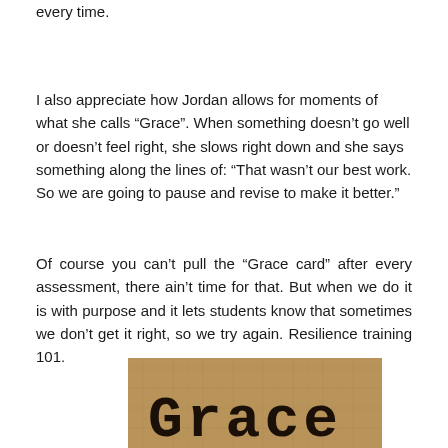every time.
I also appreciate how Jordan allows for moments of what she calls “Grace”. When something doesn’t go well or doesn’t feel right, she slows right down and she says something along the lines of: “That wasn’t our best work. So we are going to pause and revise to make it better.”
Of course you can’t pull the “Grace card” after every assessment, there ain’t time for that. But when we do it is with purpose and it lets students know that sometimes we don’t get it right, so we try again. Resilience training 101.
[Figure (photo): Photo of a burlap-textured background with the word 'Grace' printed in large bold typewriter-style font.]